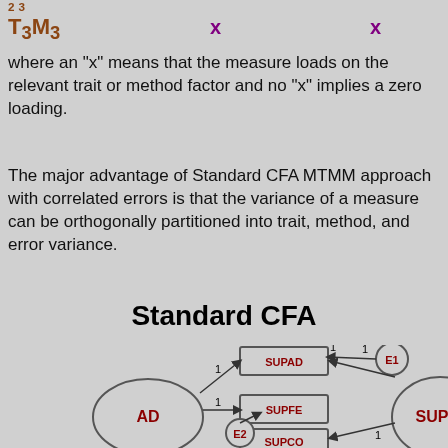T₃M₃    x    x
where an "x" means that the measure loads on the relevant trait or method factor and no "x" implies a zero loading.
The major advantage of Standard CFA MTMM approach with correlated errors is that the variance of a measure can be orthogonally partitioned into trait, method, and error variance.
Standard CFA
[Figure (engineering-diagram): Partial CFA path diagram showing latent variables AD (ellipse), and observed variables SUPAD, SUPFE, SUPCO (rectangles), with error terms E1, E2 (circles), and a partial ellipse labeled SUP at far right. Path coefficients labeled 1 are shown on arrows.]